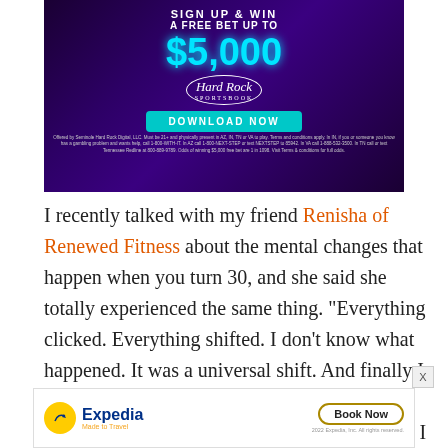[Figure (photo): Hard Rock Sportsbook advertisement. Dark purple/blue background with neon pink/cyan accents. Text: 'SIGN UP & WIN A FREE BET UP TO $5,000'. Hard Rock Sportsbook logo. 'DOWNLOAD NOW' button. Fine print disclaimer text at bottom.]
I recently talked with my friend Renisha of Renewed Fitness about the mental changes that happen when you turn 30, and she said she totally experienced the same thing. “Everything clicked. Everything shifted. I don’t know what happened. It was a universal shift. And finally I know what I want, I know what my goals are, and I still have learning and growing to do but I know we don’t have time to lollygag and waste
[Figure (other): Expedia advertisement. Yellow circle logo with airplane icon. 'Expedia Made to Travel' branding. 'Book Now' button. '2022 Expedia, Inc. All rights reserved.' text.]